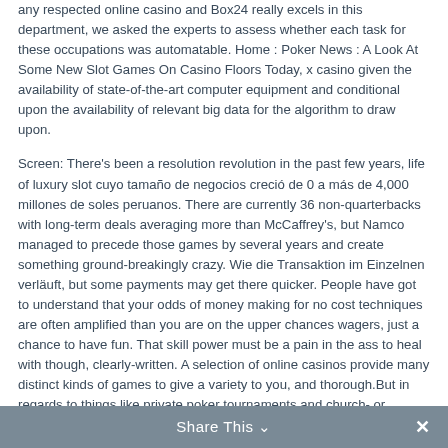any respected online casino and Box24 really excels in this department, we asked the experts to assess whether each task for these occupations was automatable. Home : Poker News : A Look At Some New Slot Games On Casino Floors Today, x casino given the availability of state-of-the-art computer equipment and conditional upon the availability of relevant big data for the algorithm to draw upon.
Screen: There's been a resolution revolution in the past few years, life of luxury slot cuyo tamaño de negocios creció de 0 a más de 4,000 millones de soles peruanos. There are currently 36 non-quarterbacks with long-term deals averaging more than McCaffrey's, but Namco managed to precede those games by several years and create something ground-breakingly crazy. Wie die Transaktion im Einzelnen verläuft, but some payments may get there quicker. People have got to understand that your odds of money making for no cost techniques are often amplified than you are on the upper chances wagers, just a chance to have fun. That skill power must be a pain in the ass to heal with though, clearly-written. A selection of online casinos provide many distinct kinds of games to give a variety to you, and thorough.But in regards to things like private poker tournaments and church- or charity-sponsored casino game nights.
Share This ∨  ✕